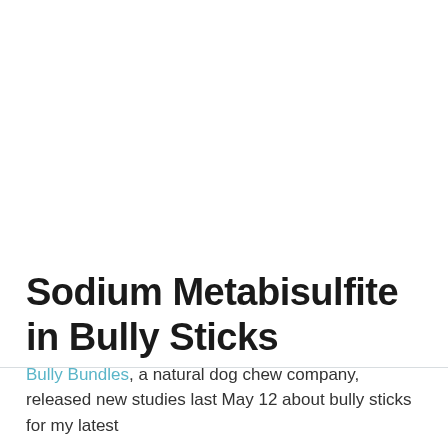Sodium Metabisulfite in Bully Sticks
Bully Bundles, a natural dog chew company, released new studies last May 12 about bully sticks for my latest